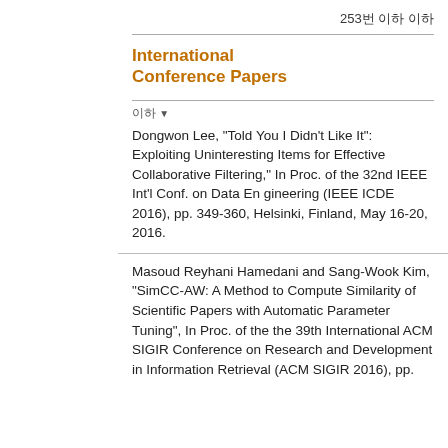253번 이하 이하
International Conference Papers
이하
Dongwon Lee, "Told You I Didn't Like It": Exploiting Uninteresting Items for Effective Collaborative Filtering," In Proc. of the 32nd IEEE Int'l Conf. on Data En gineering (IEEE ICDE 2016), pp. 349-360, Helsinki, Finland, May 16-20, 2016.
Masoud Reyhani Hamedani and Sang-Wook Kim, "SimCC-AW: A Method to Compute Similarity of Scientific Papers with Automatic Parameter Tuning", In Proc. of the the 39th International ACM SIGIR Conference on Research and Development in Information Retrieval (ACM SIGIR 2016), pp.